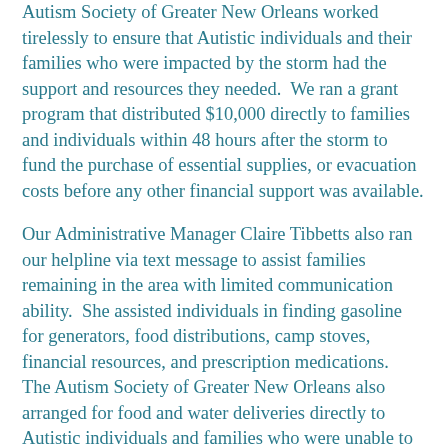Autism Society of Greater New Orleans worked tirelessly to ensure that Autistic individuals and their families who were impacted by the storm had the support and resources they needed.  We ran a grant program that distributed $10,000 directly to families and individuals within 48 hours after the storm to fund the purchase of essential supplies, or evacuation costs before any other financial support was available.
Our Administrative Manager Claire Tibbetts also ran our helpline via text message to assist families remaining in the area with limited communication ability.  She assisted individuals in finding gasoline for generators, food distributions, camp stoves, financial resources, and prescription medications.  The Autism Society of Greater New Orleans also arranged for food and water deliveries directly to Autistic individuals and families who were unable to travel to distribution sites around the city through a partnership with NOLA Ready.  These food distributions provided needed supplies to improve outcomes and keep individuals safe during the aftermath of the storm.
“I was so surprised to have food brought to me.  I’m not used to